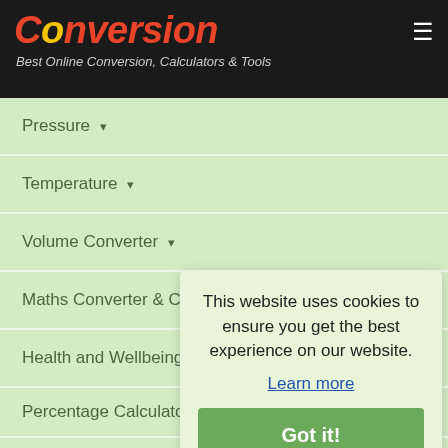Conversion — Best Online Conversion, Calculators & Tools
Pressure ▾
Temperature ▾
Volume Converter ▾
Maths Converter & Calculators ▾
Health and Wellbeing ▾
Percentage Calculator ▾
Number System ▾
Text Converter ▾
GPA Calculator ▾
This website uses cookies to ensure you get the best experience on our website.
Learn more
Got it!